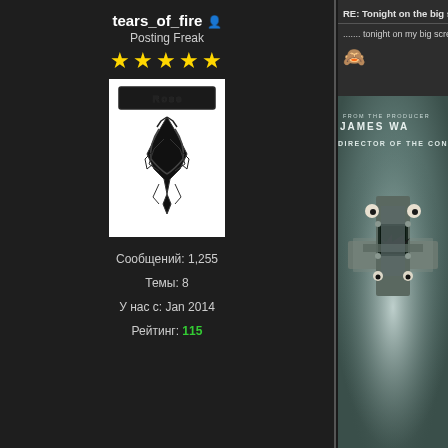tears_of_fire
Posting Freak
★★★★★
[Figure (illustration): User avatar image - black and white tribal/gothic style artwork on white background]
Сообщений: 1,255
Темы: 8
У нас с: Jan 2014
Рейтинг: 115
RE: Tonight on the big screen... do you like cinema ??
....... tonight on my big screen....... when you've seen what hide
[Figure (photo): Movie poster - horror film, dark teal/grey tones. Text reads 'FROM THE PRODUCER JAMES WA... DIRECTOR OF THE CONJU...' with an image of a cross made from what appears to be a box/device wrapped in tape with googly eyes attached]